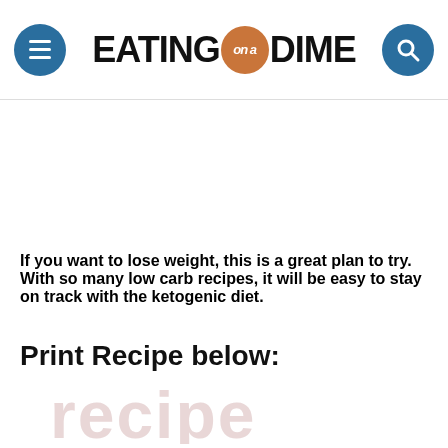EATING on a DIME
If you want to lose weight, this is a great plan to try. With so many low carb recipes,  it will be easy to stay on track with the ketogenic diet.
Print Recipe below:
[Figure (illustration): Partial watermark-style text showing the word 'recipe' in a light pinkish-red cursive font, cut off at the bottom of the page]